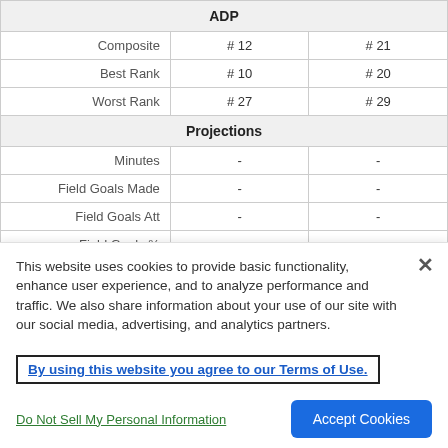|  | ADP |  |
| --- | --- | --- |
| Composite | # 12 | # 21 |
| Best Rank | # 10 | # 20 |
| Worst Rank | # 27 | # 29 |
| Projections |  |  |
| Minutes | - | - |
| Field Goals Made | - | - |
| Field Goals Att | - | - |
| Field Goals % | - | - |
| Three Points Made | - | - |
| Three Points Att | - | - |
This website uses cookies to provide basic functionality, enhance user experience, and to analyze performance and traffic. We also share information about your use of our site with our social media, advertising, and analytics partners.
By using this website you agree to our Terms of Use.
Do Not Sell My Personal Information
Accept Cookies